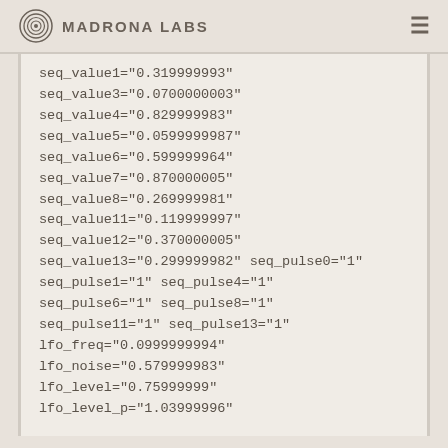Madrona Labs
seq_value1="0.319999993"
seq_value3="0.0700000003"
seq_value4="0.829999983"
seq_value5="0.0599999987"
seq_value6="0.599999964"
seq_value7="0.870000005"
seq_value8="0.269999981"
seq_value11="0.119999997"
seq_value12="0.370000005"
seq_value13="0.299999982" seq_pulse0="1"
seq_pulse1="1" seq_pulse4="1"
seq_pulse6="1" seq_pulse8="1"
seq_pulse11="1" seq_pulse13="1"
lfo_freq="0.0999999994"
lfo_noise="0.579999983"
lfo_level="0.75999999"
lfo_level_p="1.03999996"